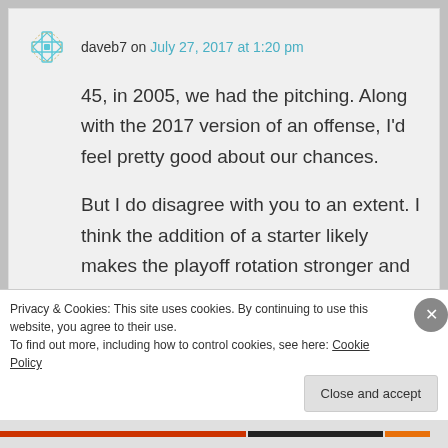daveb7 on July 27, 2017 at 1:20 pm
45, in 2005, we had the pitching. Along with the 2017 version of an offense, I’d feel pretty good about our chances.
But I do disagree with you to an extent. I think the addition of a starter likely makes the playoff rotation stronger and also makes the playoff pen better.
Privacy & Cookies: This site uses cookies. By continuing to use this website, you agree to their use.
To find out more, including how to control cookies, see here: Cookie Policy